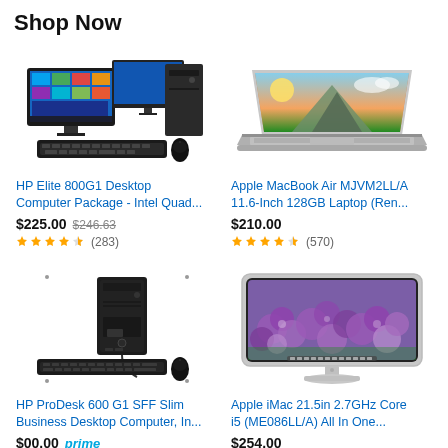Shop Now
[Figure (photo): HP Elite 800G1 Desktop Computer Package with two monitors, keyboard and mouse]
HP Elite 800G1 Desktop Computer Package - Intel Quad...
$225.00  $246.63
(283)
[Figure (photo): Apple MacBook Air laptop with mountain scenery wallpaper]
Apple MacBook Air MJVM2LL/A 11.6-Inch 128GB Laptop (Ren...
$210.00
(570)
[Figure (photo): HP ProDesk 600 G1 SFF slim desktop tower with keyboard and mouse]
HP ProDesk 600 G1 SFF Slim Business Desktop Computer, In...
$00.00  prime
[Figure (photo): Apple iMac 21.5 inch with purple flower wallpaper displayed on screen]
Apple iMac 21.5in 2.7GHz Core i5 (ME086LL/A) All In One...
$254.00